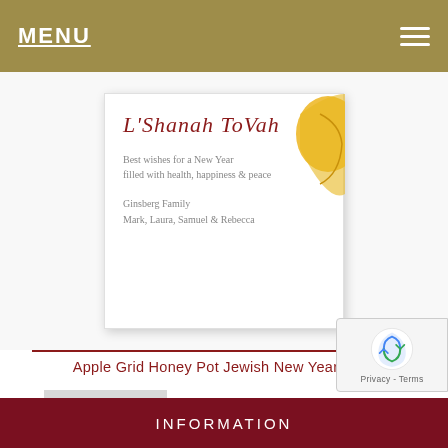MENU
[Figure (illustration): Partial view of a Jewish New Year greeting card showing Hebrew-style text 'L'Shanah Tovah', message 'Best wishes for a New Year filled with health, happiness & peace', signed 'Ginsberg Family, Mark, Laura, Samuel & Rebecca'. Yellow honey pot illustration visible on the right side of the card.]
Apple Grid Honey Pot Jewish New Year Card
Add to cart
INFORMATION